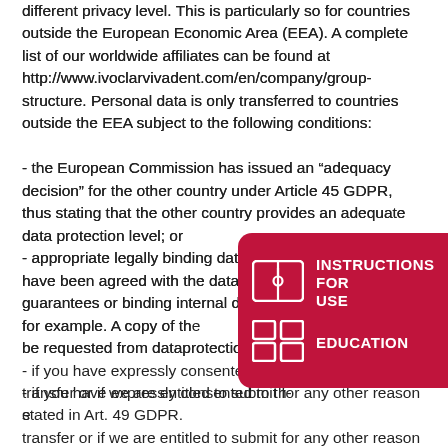different privacy level. This is particularly so for countries outside the European Economic Area (EEA). A complete list of our worldwide affiliates can be found at http://www.ivoclarvivadent.com/en/company/group-structure. Personal data is only transferred to countries outside the EEA subject to the following conditions:

- the European Commission has issued an “adequacy decision” for the other country under Article 45 GDPR, thus stating that the other country provides an adequate data protection level; or
- appropriate legally binding data protection measures have been agreed with the data recipients as standard guarantees or binding internal data protection regulations, for example. A copy of the... be requested from dataprotection@ca...
- if you have expressly consented to the proposed transfer or if we are entitled to submit for any other reason stated in Art. 49 GDPR.
[Figure (infographic): Dark red/crimson rounded rectangle overlay in lower-right corner with two rows: 1) book/manual icon with text 'INSTRUCTIONS FOR USE', 2) grid/squares icon with text 'EDUCATION']